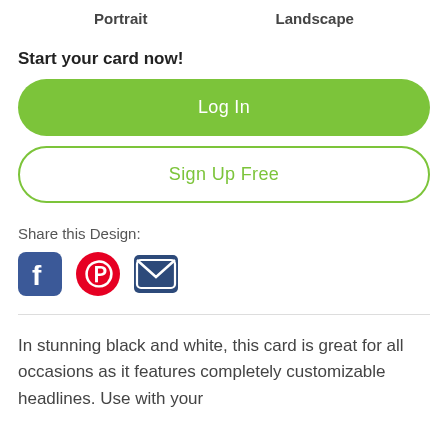Portrait    Landscape
Start your card now!
Log In
Sign Up Free
Share this Design:
[Figure (other): Social media icons: Facebook (dark blue square with white f logo), Pinterest (red circle with white P logo), Email (dark blue envelope icon)]
In stunning black and white, this card is great for all occasions as it features completely customizable headlines. Use with your